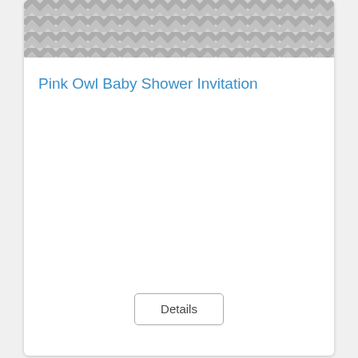[Figure (photo): Top portion of a baby shower invitation card showing chevron pattern background in gray and white]
Pink Owl Baby Shower Invitation
Details
[Figure (photo): Baby shower invitation featuring a cute cartoon owl with a pink bow, teal gingham background, pink polka dot border, text reading 'look whoo's having a baby girl! Join us for a baby shower honoring Jessica Barnes']